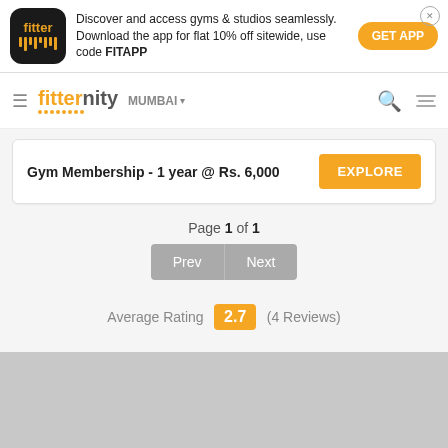[Figure (screenshot): Fitter app advertisement banner with logo, text about downloading the app for flat 10% off sitewide using code FITAPP, and a GET APP button]
[Figure (logo): Fitternity website navigation bar with logo, MUMBAI city selector, search and filter icons]
Gym Membership - 1 year @ Rs. 6,000
Page 1 of 1
Average Rating 2.7 (4 Reviews)